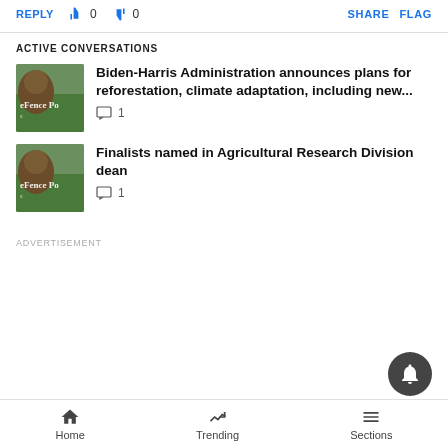REPLY  👍 0  👎 0   SHARE  FLAG
ACTIVE CONVERSATIONS
Biden-Harris Administration announces plans for reforestation, climate adaptation, including new...  💬 1
Finalists named in Agricultural Research Division dean  💬 1
ADVERTISEMENT
Home   Trending   Sections